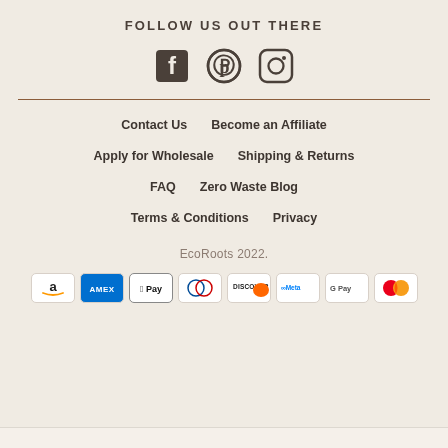FOLLOW US OUT THERE
[Figure (illustration): Social media icons: Facebook, Pinterest, Instagram]
Contact Us    Become an Affiliate
Apply for Wholesale    Shipping & Returns
FAQ    Zero Waste Blog
Terms & Conditions    Privacy
EcoRoots 2022.
[Figure (illustration): Payment method logos: Amazon, Amex, Apple Pay, Diners Club, Discover, Meta Pay, Google Pay, Mastercard]